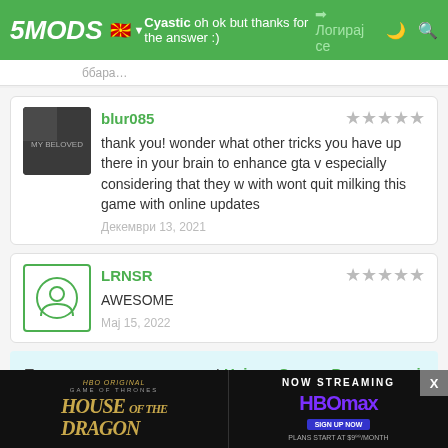5MODS | Cyastic oh ok but thanks for the answer :) | Логирај се
Cyastic oh ok but thanks for the answer :)
blur085 — thank you! wonder what other tricks you have up there in your brain to enhance gta v especially considering that they w with wont quit milking this game with online updates — Декември 13, 2021
LRNSR — AWESOME — Мај 15, 2022
Придружи се на разговорот! Најави Се или Регистрирај се со сметка за да се придружиш на коментарите.
[Figure (screenshot): House of the Dragon HBO Max advertisement banner]